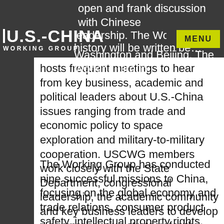open and frank discussion with Chinese
[Figure (logo): U.S.-China Working Group logo — white text on dark gray background]
open and frank discussion with Chinese leadership. The Working Group believes more history will be written between Washington and Beijing. The Working Group hosts frequent meetings to hear from key business, academic and political leaders about U.S.-China issues ranging from trade and economic policy to space exploration and military-to-military cooperation. USCWG members work closely with the State Department, congressional leadership, the academic community and key business leaders to develop a comprehensive strategy for the 21st century.
The Working Group has conducted nine successful missions to China, focusing on the global economy and trade relations, consumer product safety, intellectual property rights, military-to-military operations,